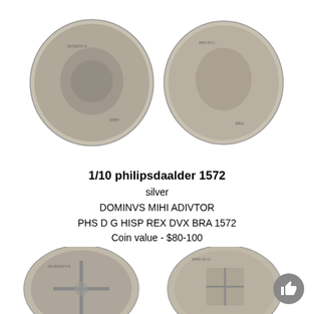[Figure (photo): Two silver coins shown side by side — obverse (coat of arms) and reverse (portrait) of a 1/10 philipsdaalder 1572]
1/10 philipsdaalder 1572
silver
DOMINVS MIHI ADIVTOR
PHS D G HISP REX DVX BRA 1572
Coin value - $80-100
[Figure (photo): Two silver coins shown side by side — obverse (cross design) and reverse (coat of arms) of another coin, partially cropped at bottom of page]